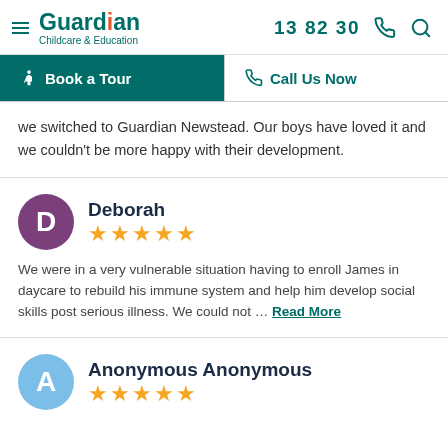Guardian Childcare & Education | 13 82 30
Book a Tour | Call Us Now
we switched to Guardian Newstead. Our boys have loved it and we couldn't be more happy with their development.
Deborah ★★★★★
We were in a very vulnerable situation having to enroll James in daycare to rebuild his immune system and help him develop social skills post serious illness. We could not ... Read More
Anonymous Anonymous ★★★★★